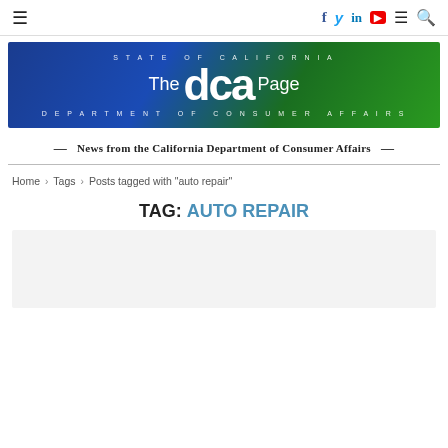Navigation bar with hamburger menu, social icons (Facebook, Twitter, LinkedIn, YouTube), menu and search icons
[Figure (illustration): The DCA Page banner - State of California, Department of Consumer Affairs, blue and green gradient background]
— News from the California Department of Consumer Affairs —
Home > Tags > Posts tagged with "auto repair"
TAG: AUTO REPAIR
[Figure (other): Light gray card/article preview area]